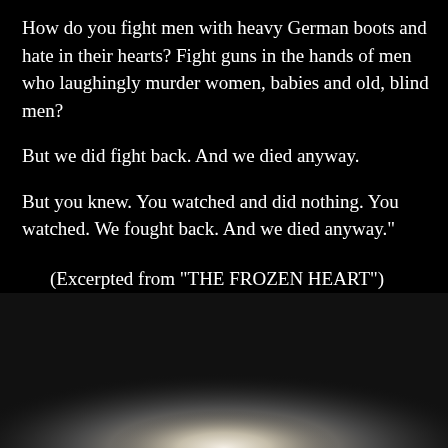How do you fight men with heavy German boots and hate in their hearts? Fight guns in the hands of men who laughingly murder women, babies and old, blind men?

But we did fight back. And we died anyway.

But you knew. You watched and did nothing. You watched. We fought back. And we died anyway."

(Excerpted from "THE FROZEN HEART")
[Figure (photo): A blurred, dark background photograph showing a faint glowing white/light form in the center-bottom area, resembling a blurred figure or light source against a dark grey and black background.]